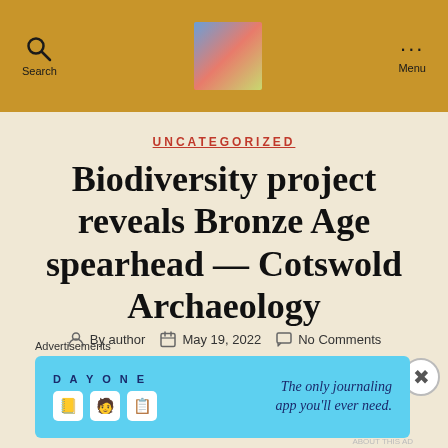Search | [logo image] | Menu
UNCATEGORIZED
Biodiversity project reveals Bronze Age spearhead — Cotswold Archaeology
By author  May 19, 2022  No Comments
Advertisements
[Figure (screenshot): DAY ONE app advertisement banner — 'The only journaling app you'll ever need.']